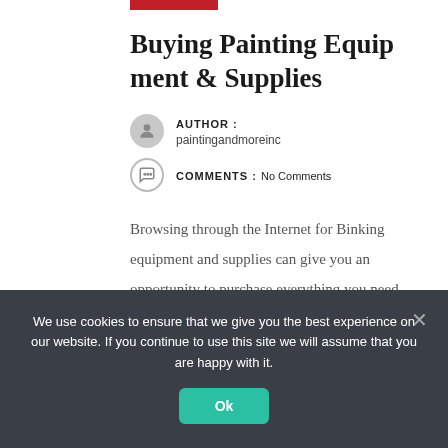Buying Painting Equipment & Supplies
AUTHOR : paintingandmoreinc
COMMENTS : No Comments
Browsing through the Internet for Binking equipment and supplies can give you an opportunity to purchase everything you need for doing your own painting jobs,
We use cookies to ensure that we give you the best experience on our website. If you continue to use this site we will assume that you are happy with it.